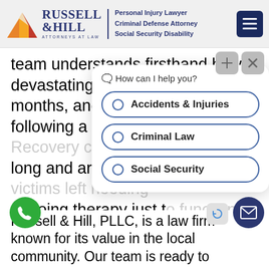[Figure (logo): Russell & Hill Attorneys at Law logo with triangle/mountain graphic, text 'Personal Injury Lawyer / Criminal Defense Attorney / Social Security Disability', and hamburger menu button]
team understands firsthand how devastating the days, weeks, months, and even years can be following a harrowing bus crash. Recovery can be long and arduous, with many victims left needing ongoing therapy just to function normally again. Because of the seriousness of this type of accident, our team strives to negotiate the best possible settlement for our clients of the other party's
[Figure (screenshot): Chatbot overlay with 'How can I help you?' prompt and three options: 'Accidents & Injuries', 'Criminal Law', 'Social Security']
Russell & Hill, PLLC, is a law firm known for its value in the local community. Our team is ready to